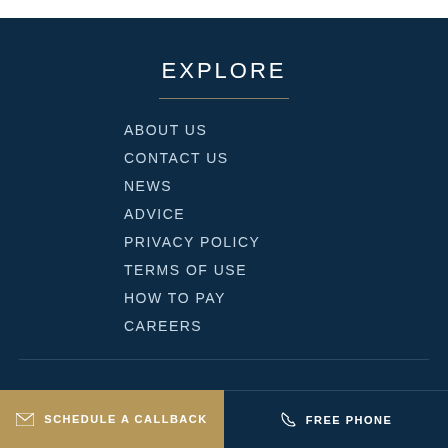EXPLORE
ABOUT US
CONTACT US
NEWS
ADVICE
PRIVACY POLICY
TERMS OF USE
HOW TO PAY
CAREERS
SIGN UP FOR EXCLUSIVE OFFERS
SCHEDULE A CALLBACK | FREE PHONE